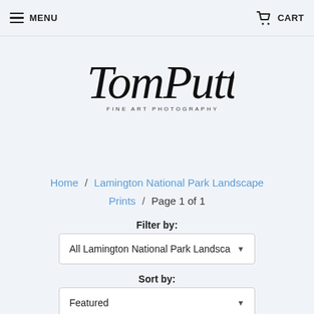MENU  CART
[Figure (logo): TomPutt Fine Art Photography handwritten logo with subtitle 'FINE ART PHOTOGRAPHY']
Home / Lamington National Park Landscape Prints / Page 1 of 1
Filter by:
All Lamington National Park Landsca
Sort by:
Featured